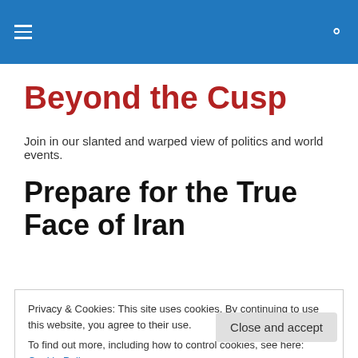Beyond the Cusp — navigation header bar
Beyond the Cusp
Join in our slanted and warped view of politics and world events.
Prepare for the True Face of Iran
Privacy & Cookies: This site uses cookies. By continuing to use this website, you agree to their use.
To find out more, including how to control cookies, see here: Cookie Policy